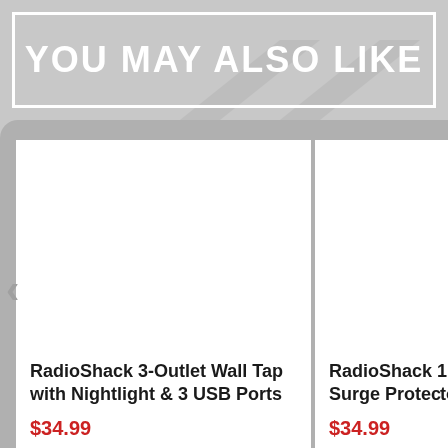YOU MAY ALSO LIKE
[Figure (photo): Product card for RadioShack 3-Outlet Wall Tap with Nightlight & 3 USB Ports, showing white product image area and price $34.99]
RadioShack 3-Outlet Wall Tap with Nightlight & 3 USB Ports
$34.99
[Figure (photo): Partial product card for RadioShack 1-Outlet Wall Tap Surge Protector (truncated), showing price $34.99]
RadioShack 1 O- Tap Surge Prote-
$34.99